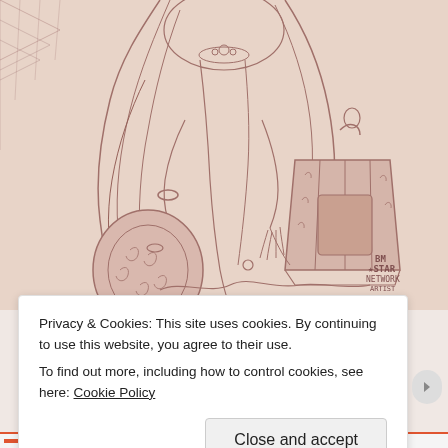[Figure (illustration): A detailed line-art illustration in muted rose/mauve tones depicting a female figure with long flowing hair, wearing ornate jewelry and holding lanterns. The figure is surrounded by decorative floral and swirling motifs. A pixel/logo watermark reading 'BM STAR' is visible in the lower right.]
Privacy & Cookies: This site uses cookies. By continuing to use this website, you agree to their use.
To find out more, including how to control cookies, see here: Cookie Policy